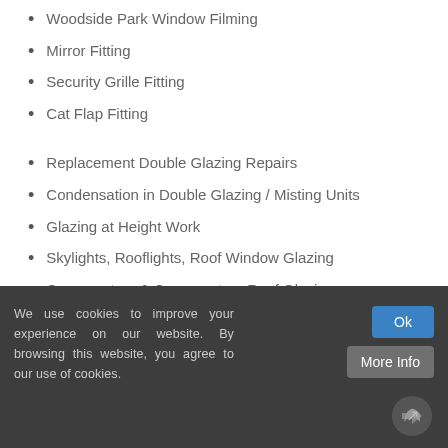Woodside Park Window Filming
Mirror Fitting
Security Grille Fitting
Cat Flap Fitting
Replacement Double Glazing Repairs
Condensation in Double Glazing / Misting Units
Glazing at Height Work
Skylights, Rooflights, Roof Window Glazing
Conservatory & Conservatory Roof Glazing
Greenhouse, Garage & Shed Glazing
Secondary Glazing Repairs Woodside Park
We use cookies to improve your experience on our website. By browsing this website, you agree to our use of cookies.